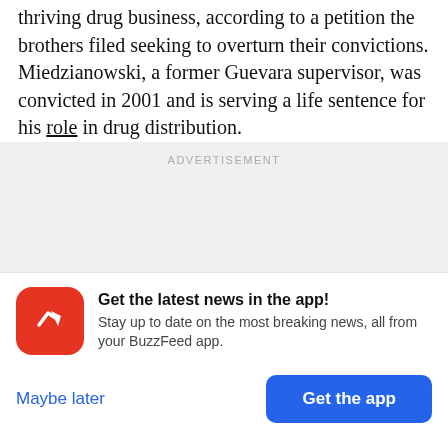thriving drug business, according to a petition the brothers filed seeking to overturn their convictions. Miedzianowski, a former Guevara supervisor, was convicted in 2001 and is serving a life sentence for his role in drug distribution.
[Figure (other): Advertisement placeholder block with gray background and 'ADVERTISEMENT' label]
Get the latest news in the app! Stay up to date on the most breaking news, all from your BuzzFeed app.
Maybe later
Get the app